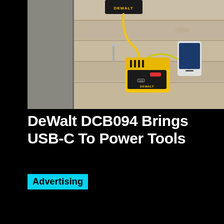[Figure (photo): A yellow and black DeWalt DCB094 USB-C power adapter/charger sitting on wooden planks, with a cable running up to a DeWalt branded device mounted on a wall. The device has a yellow body with black accents and a USB-C port visible.]
DeWalt DCB094 Brings USB-C To Power Tools
Advertising